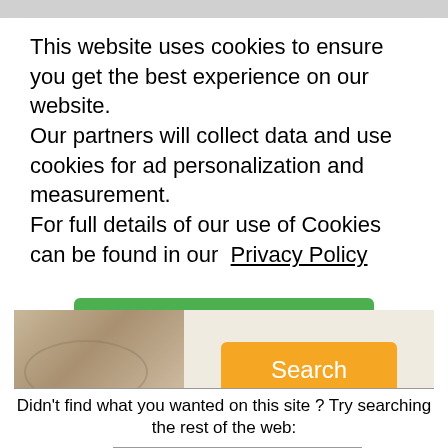This website uses cookies to ensure you get the best experience on our website.
Our partners will collect data and use cookies for ad personalization and measurement.
For full details of our use of Cookies can be found in our Privacy Policy
I accept
[Figure (photo): Sepia-toned photo of hands with a document or sheet music, with an orange Search button to the right]
Didn't find what you wanted on this site ? Try searching the rest of the web:
[Figure (logo): Google logo with trademark symbol]
Search